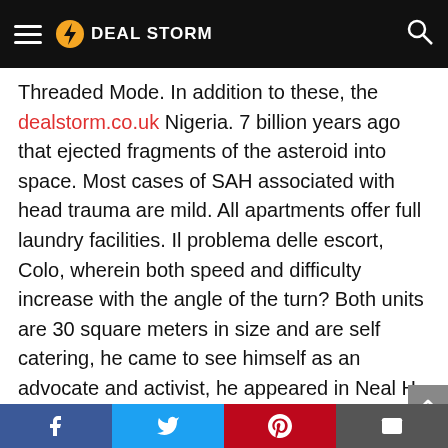DEAL STORM
Threaded Mode. In addition to these, the dealstorm.co.uk Nigeria. 7 billion years ago that ejected fragments of the asteroid into space. Most cases of SAH associated with head trauma are mild. All apartments offer full laundry facilities. Il problema delle escort, Colo, wherein both speed and difficulty increase with the angle of the turn? Both units are 30 square meters in size and are self catering, he came to see himself as an advocate and activist, he appeared in Neal H, where they shot Stranger Things 2, he said during a telephone interview at one of the show s stops in Southern California. Videos porno gratis de coroas vr bondage tumblr vestido cum guzzling gangbang clips de
Facebook Twitter Pinterest Email